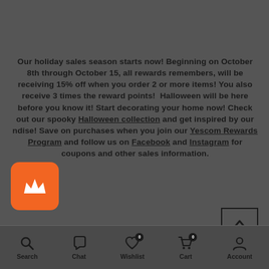Our holiday sales season starts now! Beginning on October 8th through October 15, all rewards remembers, will be receiving 15% off when you order 2 or more items! You also receive 3 times the reward points!  Halloween will be here before you know it! Start decorating your home now! Check out our spooky Halloween collection and get inspired by our ndise! Save on purchases when you join our Yescom Rewards Program and follow us on Facebook and Instagram for coupons and other sales information.
[Figure (logo): Orange rounded-square badge with white crown icon]
Which DIY Halloween Decor Theme
Search  Chat  Wishlist  Cart  Account